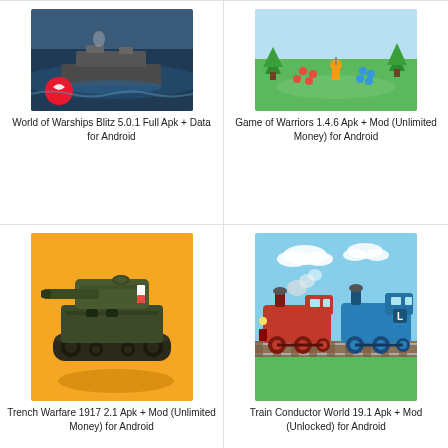[Figure (screenshot): World of Warships Blitz game screenshot showing a warship at sea with a red logo]
World of Warships Blitz 5.0.1 Full Apk + Data for Android
[Figure (screenshot): Game of Warriors screenshot showing cartoon characters on a green field]
Game of Warriors 1.4.6 Apk + Mod (Unlimited Money) for Android
[Figure (screenshot): Trench Warfare 1917 game icon showing a pixel-art tank on orange background]
Trench Warfare 1917 2.1 Apk + Mod (Unlimited Money) for Android
[Figure (screenshot): Train Conductor World screenshot showing colorful trains on tracks]
Train Conductor World 19.1 Apk + Mod (Unlocked) for Android